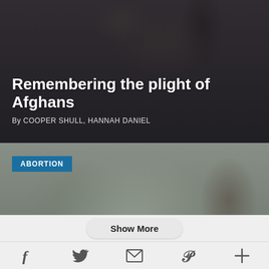[Figure (photo): Dark background photo of people, used as header image for article about Afghan plight]
Remembering the plight of Afghans
By COOPER SHULL, HANNAH DANIEL
[Figure (photo): Photo of a woman and child from behind, outdoors with trees and fence, used as header image for abortion article]
ABORTION
Explaining the sin of abortion in an age-appropriate way
By TIM SCHEIDERER
Show More
[Figure (other): Social sharing bar with icons: Facebook, Twitter, Email, Pinterest, More (+)]